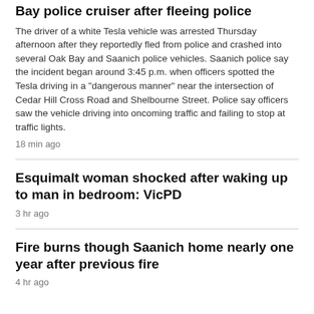Bay police cruiser after fleeing police
The driver of a white Tesla vehicle was arrested Thursday afternoon after they reportedly fled from police and crashed into several Oak Bay and Saanich police vehicles. Saanich police say the incident began around 3:45 p.m. when officers spotted the Tesla driving in a "dangerous manner" near the intersection of Cedar Hill Cross Road and Shelbourne Street. Police say officers saw the vehicle driving into oncoming traffic and failing to stop at traffic lights.
18 min ago
Esquimalt woman shocked after waking up to man in bedroom: VicPD
3 hr ago
Fire burns though Saanich home nearly one year after previous fire
4 hr ago